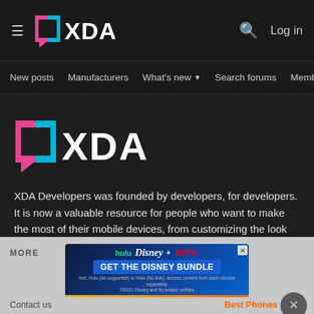[Figure (logo): XDA Developers logo in top navigation bar - speech bubble icon in pink/cyan with XDA text in white]
Log in
New posts  Manufacturers  What's new ▾  Search forums  Members  >
[Figure (logo): XDA Developers large logo - speech bubble icon in pink/cyan with XDA text in white]
XDA Developers was founded by developers, for developers. It is now a valuable resource for people who want to make the most of their mobile devices, from customizing the look and feel to adding new functionality.
Crafted by Audentio
[Figure (infographic): Disney Bundle advertisement banner showing Hulu, Disney+, ESPN+ logos with GET THE DISNEY BUNDLE call to action]
MORE
Contact us
Best Phones